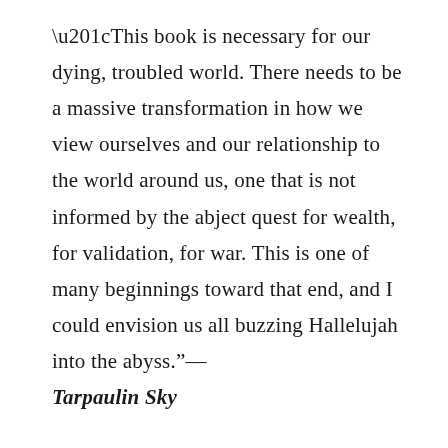“This book is necessary for our dying, troubled world. There needs to be a massive transformation in how we view ourselves and our relationship to the world around us, one that is not informed by the abject quest for wealth, for validation, for war. This is one of many beginnings toward that end, and I could envision us all buzzing Hallelujah into the abyss.”— Tarpaulin Sky